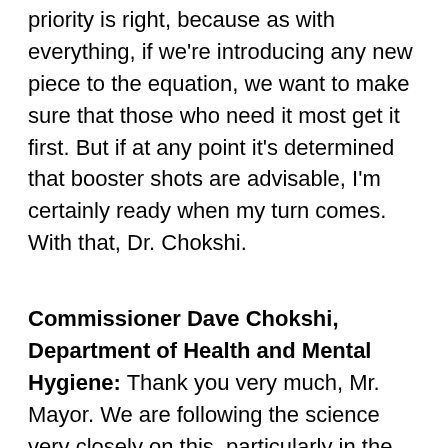priority is right, because as with everything, if we're introducing any new piece to the equation, we want to make sure that those who need it most get it first. But if at any point it's determined that booster shots are advisable, I'm certainly ready when my turn comes. With that, Dr. Chokshi.
Commissioner Dave Chokshi, Department of Health and Mental Hygiene: Thank you very much, Mr. Mayor. We are following the science very closely on this, particularly in the context of the Delta variant. At this moment, we are not recommending booster shots for any individuals based on our scientific understanding right now. However, there is some evidence, and it is growing, that booster shots may be a recommended or required a little bit further down the road. If that happens, it's most likely to be prioritized for people who are immunocompromised, potentially older individuals as well, but this is an area where we need to ensure that we follow the science as well as the recommendations from the FDA on it. So, this is an area for us to stay tuned, but